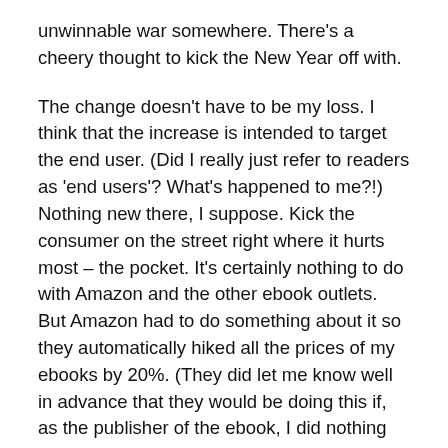unwinnable war somewhere. There's a cheery thought to kick the New Year off with.
The change doesn't have to be my loss. I think that the increase is intended to target the end user. (Did I really just refer to readers as 'end users'? What's happened to me?!) Nothing new there, I suppose. Kick the consumer on the street right where it hurts most – the pocket. It's certainly nothing to do with Amazon and the other ebook outlets. But Amazon had to do something about it so they automatically hiked all the prices of my ebooks by 20%. (They did let me know well in advance that they would be doing this if, as the publisher of the ebook, I did nothing about my pricing prior to the changes coming into being.)
So I had a decision to make when I turned on my computer to see that all my books had gone from £1.99 to